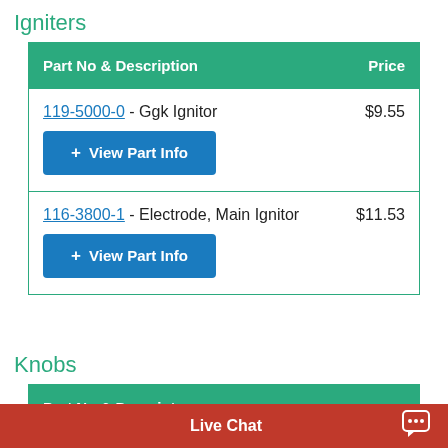Igniters
| Part No & Description | Price |
| --- | --- |
| 119-5000-0 - Ggk Ignitor | $9.55 |
| 116-3800-1 - Electrode, Main Ignitor | $11.53 |
Knobs
| Part No & Description | Price |
| --- | --- |